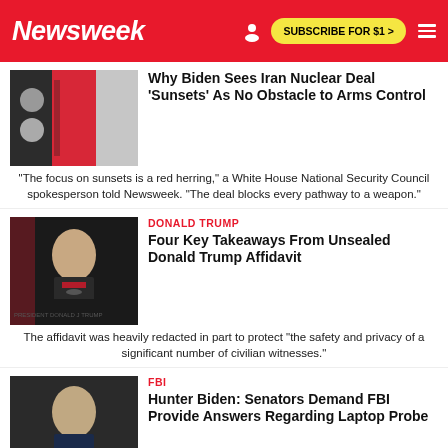Newsweek | SUBSCRIBE FOR $1 >
[Figure (photo): Iran flag and nuclear facility]
Why Biden Sees Iran Nuclear Deal 'Sunsets' As No Obstacle to Arms Control
"The focus on sunsets is a red herring," a White House National Security Council spokesperson told Newsweek. "The deal blocks every pathway to a weapon."
[Figure (photo): Donald Trump speaking at podium]
DONALD TRUMP
Four Key Takeaways From Unsealed Donald Trump Affidavit
The affidavit was heavily redacted in part to protect "the safety and privacy of a significant number of civilian witnesses."
[Figure (photo): Hunter Biden at microphone]
FBI
Hunter Biden: Senators Demand FBI Provide Answers Regarding Laptop Probe
The senators accused FBI officials of downplaying "derogatory information" on the president's son for the "purpose of shutting down investigative activity."